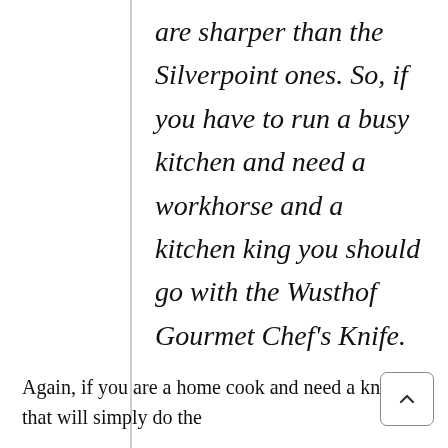are sharper than the Silverpoint ones. So, if you have to run a busy kitchen and need a workhorse and a kitchen king you should go with the Wusthof Gourmet Chef's Knife.
Again, if you are a home cook and need a knife that will simply do the